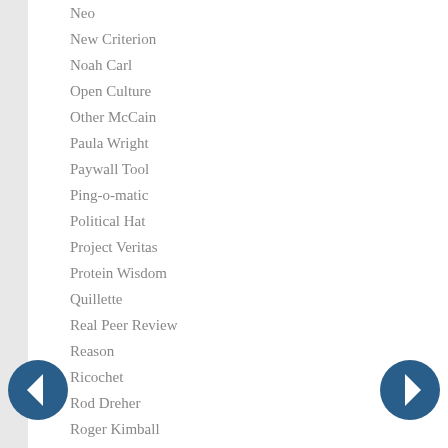Neo
New Criterion
Noah Carl
Open Culture
Other McCain
Paula Wright
Paywall Tool
Ping-o-matic
Political Hat
Project Veritas
Protein Wisdom
Quillette
Real Peer Review
Reason
Ricochet
Rod Dreher
Roger Kimball
Samizdata
Script Doctor
Shorpy
Small Dead Animals
Spectator
Standpoint
Stephen Hicks